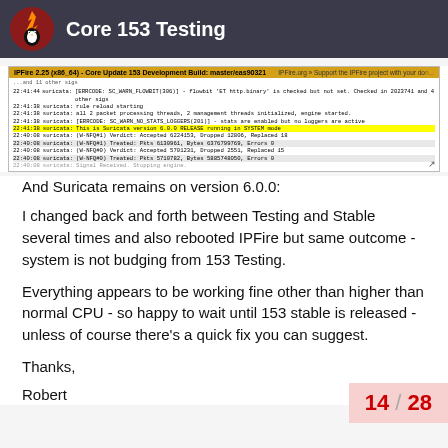Core 153 Testing
[Figure (screenshot): Screenshot of IPFire web interface showing Core Update 153 Development Build and Suricata log entries. A highlighted line reads: This is Suricata version 6.0.0 RELEASE running in SYSTEM mode]
And Suricata remains on version 6.0.0:
I changed back and forth between Testing and Stable several times and also rebooted IPFire but same outcome - system is not budging from 153 Testing.
Everything appears to be working fine other than higher than normal CPU - so happy to wait until 153 stable is released - unless of course there's a quick fix you can suggest.
Thanks,
Robert
14 / 28